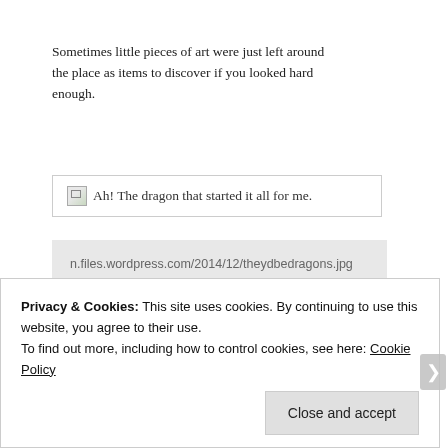Sometimes little pieces of art were just left around the place as items to discover if you looked hard enough.
[Figure (screenshot): Broken image placeholder with alt text: Ah! The dragon that started it all for me. Shown inside a bordered box.]
n.files.wordpress.com/2014/12/theydbedragons.jpg
"> Ah! The dragon that started it all for me.
an angelic snow-man awaits casual staff members to drop by. height=
nurse snow-man was here to inform. height=
scarecrow height=
Privacy & Cookies: This site uses cookies. By continuing to use this website, you agree to their use.
To find out more, including how to control cookies, see here: Cookie Policy
Close and accept